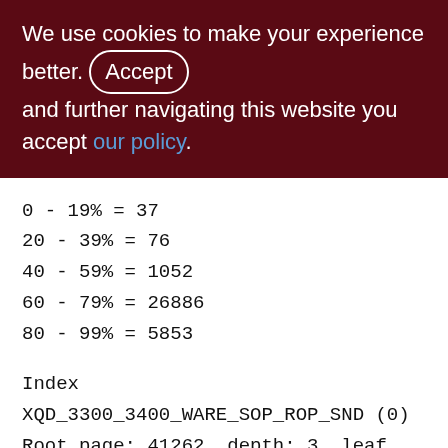We use cookies to make your experience better. By accepting and further navigating this website you accept our policy.
0 - 19% = 37
20 - 39% = 76
40 - 59% = 1052
60 - 79% = 26886
80 - 99% = 5853
Index XQD_3300_3400_WARE_SOP_ROP_SND (0)
Root page: 41262, depth: 3, leaf buckets: 4784, nodes: 2275857
Average node length: 6.97, total dup: 1822924, max dup: 29
Average key length: 4.00, compression